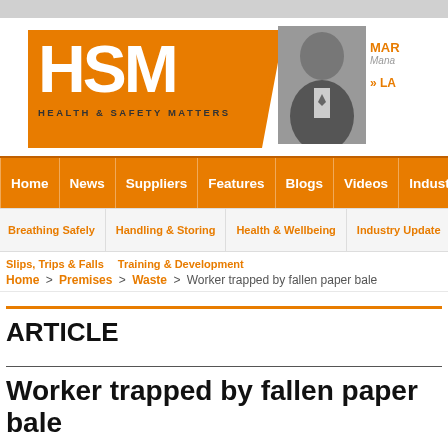[Figure (logo): HSM Health & Safety Matters logo — orange rectangle with white HSM text and diagonal slash, with 'HEALTH & SAFETY MATTERS' subtitle below]
[Figure (photo): Black and white headshot photo of a man in a suit]
MAR
Mana
» LA
Home | News | Suppliers | Features | Blogs | Videos | Industry
Breathing Safely | Handling & Storing | Health & Wellbeing | Industry Update | Man
Slips, Trips & Falls   Training & Development
Home > Premises > Waste > Worker trapped by fallen paper bale
ARTICLE
Worker trapped by fallen paper bale